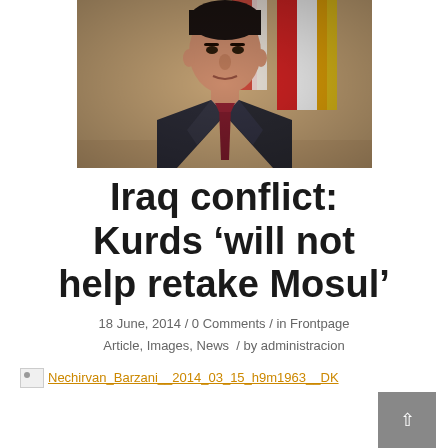[Figure (photo): Photo of Nechirvan Barzani in a dark suit with tie, flags visible in background]
Iraq conflict: Kurds ‘will not help retake Mosul’
18 June, 2014 / 0 Comments / in Frontpage Article, Images, News / by administracion
Nechirvan_Barzani__2014_03_15_h9m1963__DK